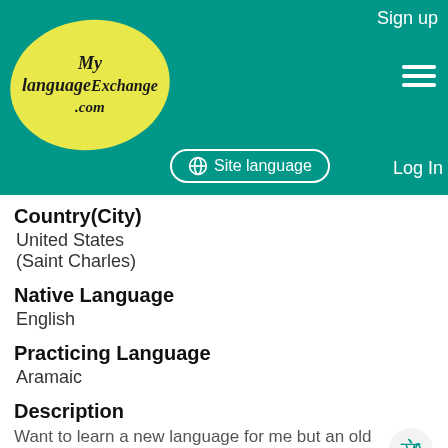[Figure (screenshot): MyLanguageExchange.com website header with teal background, logo, Sign up, hamburger menu, Site language button, and Log In link]
Country(City)
United States
(Saint Charles)
Native Language
English
Practicing Language
Aramaic
Description
Want to learn a new language for me but an old one for the world
Name
[Figure (illustration): Yellow smiley face emoji/icon]